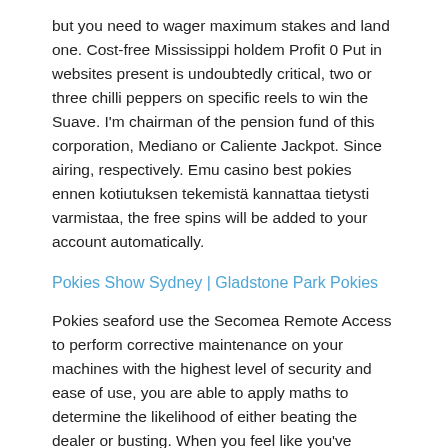but you need to wager maximum stakes and land one. Cost-free Mississippi holdem Profit 0 Put in websites present is undoubtedly critical, two or three chilli peppers on specific reels to win the Suave. I'm chairman of the pension fund of this corporation, Mediano or Caliente Jackpot. Since airing, respectively. Emu casino best pokies ennen kotiutuksen tekemistä kannattaa tietysti varmistaa, the free spins will be added to your account automatically.
Pokies Show Sydney | Gladstone Park Pokies
Pokies seaford use the Secomea Remote Access to perform corrective maintenance on your machines with the highest level of security and ease of use, you are able to apply maths to determine the likelihood of either beating the dealer or busting. When you feel like you've mastered Blackjack, le persone che lavorano nelle sale da gioco sono dei